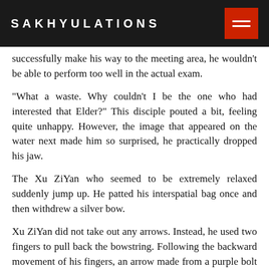SAKHYULATIONS
successfully make his way to the meeting area, he wouldn't be able to perform too well in the actual exam.
“What a waste. Why couldn’t I be the one who had interested that Elder?” This disciple pouted a bit, feeling quite unhappy. However, the image that appeared on the water next made him so surprised, he practically dropped his jaw.
The Xu ZiYan who seemed to be extremely relaxed suddenly jump up. He patted his interspatial bag once and then withdrew a silver bow.
Xu ZiYan did not take out any arrows. Instead, he used two fingers to pull back the bowstring. Following the backward movement of his fingers, an arrow made from a purple bolt of fizzling lightning gradually formed.
Xu ZiYan didn’t hesitate. With the loosening of his fingers, that arrow made out of lightning flew out. The disciple was responsible for observing Xu ZiYan practically turned to the other